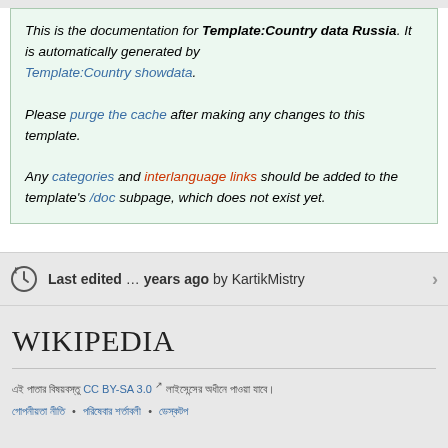This is the documentation for Template:Country data Russia. It is automatically generated by Template:Country showdata. Please purge the cache after making any changes to this template. Any categories and interlanguage links should be added to the template's /doc subpage, which does not exist yet.
Last edited … years ago by KartikMistry
[Figure (logo): Wikipedia wordmark logo]
এই পাতার বিষয়বস্তু CC BY-SA 3.0 লাইসেন্সের অধীনে পাওয়া যাবে।
গোপনীয়তা নীতি • পরিষেবার শর্তাবলী • ডেস্কটপ